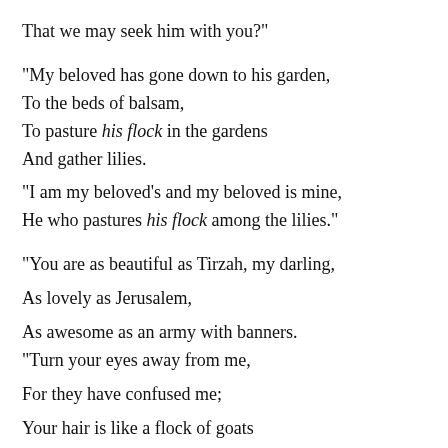That we may seek him with you?"
"My beloved has gone down to his garden,
To the beds of balsam,
To pasture his flock in the gardens
And gather lilies.
"I am my beloved’s and my beloved is mine,
He who pastures his flock among the lilies."
"You are as beautiful as Tirzah, my darling,
As lovely as Jerusalem,
As awesome as an army with banners.
"Turn your eyes away from me,
For they have confused me;
Your hair is like a flock of goats